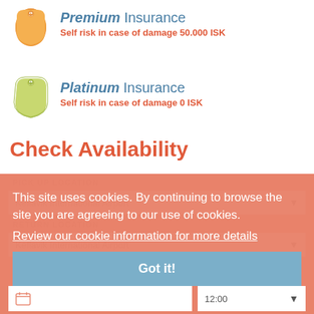[Figure (logo): Orange price tag icon for Premium Insurance]
Premium Insurance
Self risk in case of damage 50.000 ISK
[Figure (logo): Green price tag icon for Platinum Insurance]
Platinum Insurance
Self risk in case of damage 0 ISK
Check Availability
PICK UP LOCATION
Keflavik International Airport
RETURN LOCATION
Keflavik International Airport
This site uses cookies. By continuing to browse the site you are agreeing to our use of cookies.
Review our cookie information for more details
Got it!
PICK UP DATE
TIME
12:00